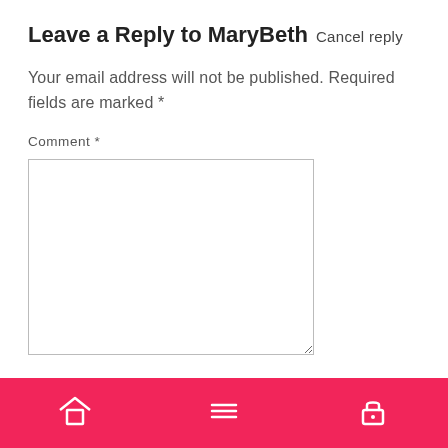Leave a Reply to MaryBeth Cancel reply
Your email address will not be published. Required fields are marked *
Comment *
[Figure (screenshot): Empty comment text area input box]
Navigation bar with home, menu, and lock icons on pink background